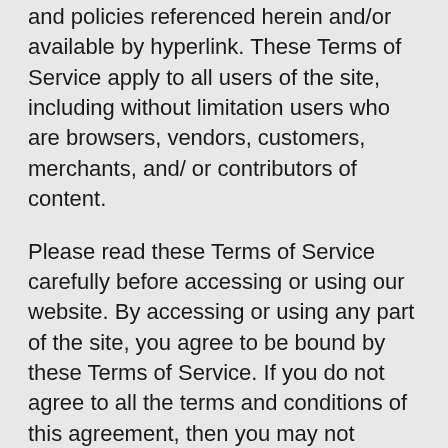and policies referenced herein and/or available by hyperlink. These Terms of Service apply to all users of the site, including without limitation users who are browsers, vendors, customers, merchants, and/ or contributors of content.
Please read these Terms of Service carefully before accessing or using our website. By accessing or using any part of the site, you agree to be bound by these Terms of Service. If you do not agree to all the terms and conditions of this agreement, then you may not access the website or use any services. If these Terms of Service are considered an offer, acceptance is expressly limited to these Terms of Service.
Any new features or tools which are added to the current store shall also be subject to the Terms of Service. You can review the most current version of the Terms of Service at any time on this page. We reserve the right to update.